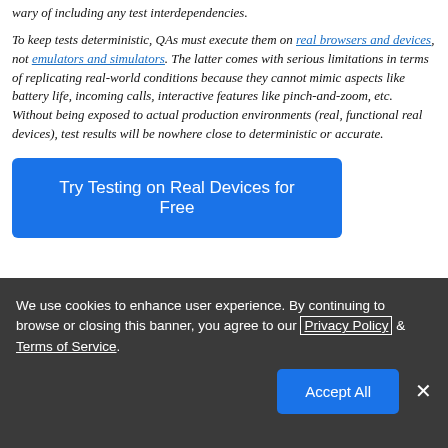wary of including any test interdependencies.
To keep tests deterministic, QAs must execute them on real browsers and devices, not emulators and simulators. The latter comes with serious limitations in terms of replicating real-world conditions because they cannot mimic aspects like battery life, incoming calls, interactive features like pinch-and-zoom, etc. Without being exposed to actual production environments (real, functional real devices), test results will be nowhere close to deterministic or accurate.
Try Testing on Real Devices for Free
We use cookies to enhance user experience. By continuing to browse or closing this banner, you agree to our Privacy Policy & Terms of Service.
Accept All